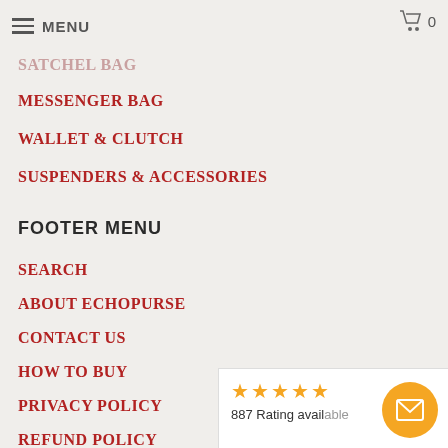MENU
SATCHEL BAG
MESSENGER BAG
WALLET & CLUTCH
SUSPENDERS & ACCESSORIES
FOOTER MENU
SEARCH
ABOUT ECHOPURSE
CONTACT US
HOW TO BUY
PRIVACY POLICY
REFUND POLICY
[Figure (infographic): Rating bar showing 4.5 stars and '887 Rating available' with an orange email button]